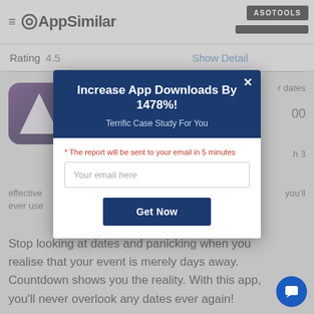AppSimilar
Rating 4.5
Show Detail
[Figure (screenshot): App icon with purple gradient and white triangle/arrow shape]
r dates
00
h 3
effective
you'll
ever use
Increase App Downloads By 1478%!
Terrific Case Study For You
* The report will be sent to your email in 5 minutes
Your email here
Get Now
Stop looking at dates and panicking when you realise that your event is merely days away. Countdown shows you the reality. With this app, you'll never overlook any dates ever again!